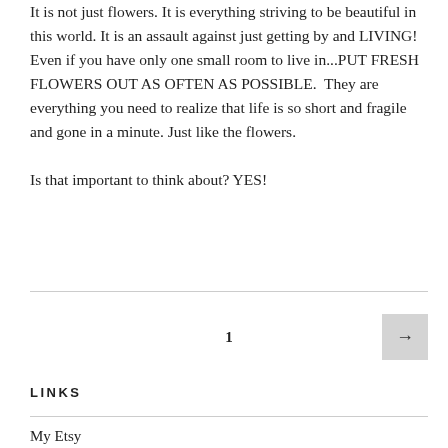It is not just flowers. It is everything striving to be beautiful in this world. It is an assault against just getting by and LIVING! Even if you have only one small room to live in...PUT FRESH FLOWERS OUT AS OFTEN AS POSSIBLE.  They are everything you need to realize that life is so short and fragile and gone in a minute. Just like the flowers.

Is that important to think about? YES!
1 →
LINKS
My Etsy